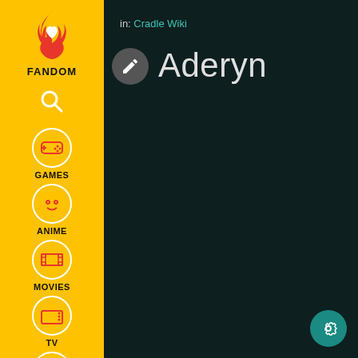[Figure (screenshot): Fandom website sidebar navigation with yellow background showing FANDOM logo (flame with heart), search icon, GAMES, ANIME, MOVIES, TV, VIDEO nav items with pink/red icons, and a user profile icon at bottom]
in: Cradle Wiki
Aderyn